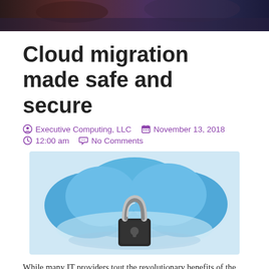[Figure (photo): Dark background header image with muted tones of brown, maroon, and dark blue — appears to show hands or objects at the top of the page.]
Cloud migration made safe and secure
Executive Computing, LLC   November 13, 2018
12:00 am   No Comments
[Figure (photo): Photo of blue cloud shapes with a black padlock fastened through them, illustrating cloud security.]
While many IT providers tout the revolutionary benefits of the cloud, very few address the security aspect of it. The fact is, when you're using a cloud service, you're moving information out of your hands and into a third party. So, doesn't it make sense to take precautions?